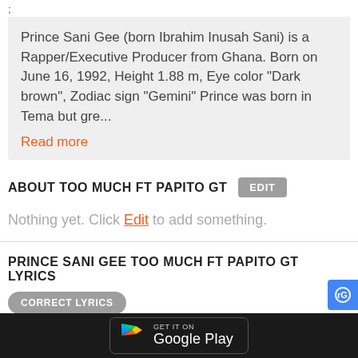;
Prince Sani Gee (born Ibrahim Inusah Sani) is a Rapper/Executive Producer from Ghana. Born on June 16, 1992, Height 1.88 m, Eye color "Dark brown", Zodiac sign "Gemini" Prince was born in Tema but gre...
Read more
ABOUT TOO MUCH FT PAPITO GT
Nothing yet. Click Edit to add something.
PRINCE SANI GEE TOO MUCH FT PAPITO GT LYRICS
CORRECT LYRICS
[Prince Sani Gee - Too Much Ft Papito GT lyrics]
(Chorus)
Shawdy say dey feel me
[Figure (logo): Google Play badge on dark bar at bottom of screen]